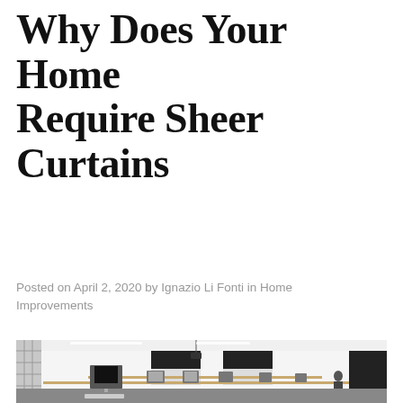Why Does Your Home Require Sheer Curtains
Posted on April 2, 2020 by Ignazio Li Fonti in Home Improvements
[Figure (photo): A bright computer lab / classroom with rows of iMac desktop computers on wooden tables, black roller blinds on tall windows, a projector hanging from the ceiling, and a person sitting at a desk in the background.]